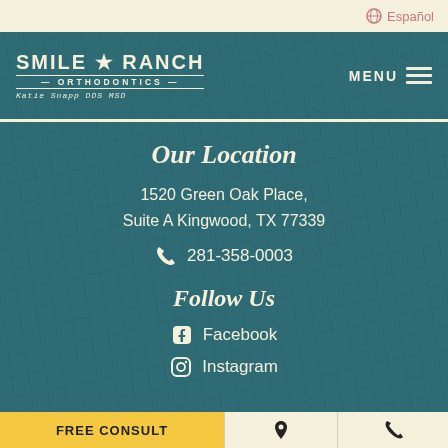Español
[Figure (logo): Smile Ranch Orthodontics logo with star, Katie Snapp DDS MSD]
MENU
Our Location
1520 Green Oak Place, Suite A Kingwood, TX 77339
281-358-0003
Follow Us
Facebook
Instagram
FREE CONSULT